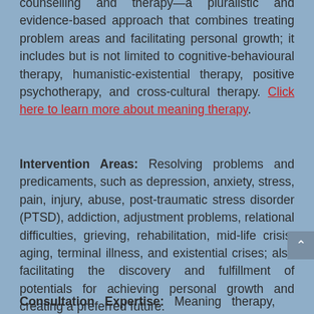counselling and therapy—a pluralistic and evidence-based approach that combines treating problem areas and facilitating personal growth; it includes but is not limited to cognitive-behavioural therapy, humanistic-existential therapy, positive psychotherapy, and cross-cultural therapy. Click here to learn more about meaning therapy.
Intervention Areas: Resolving problems and predicaments, such as depression, anxiety, stress, pain, injury, abuse, post-traumatic stress disorder (PTSD), addiction, adjustment problems, relational difficulties, grieving, rehabilitation, mid-life crisis, aging, terminal illness, and existential crises; also facilitating the discovery and fulfillment of potentials for achieving personal growth and creating a preferred future.
Consultation Expertise: Meaning therapy,